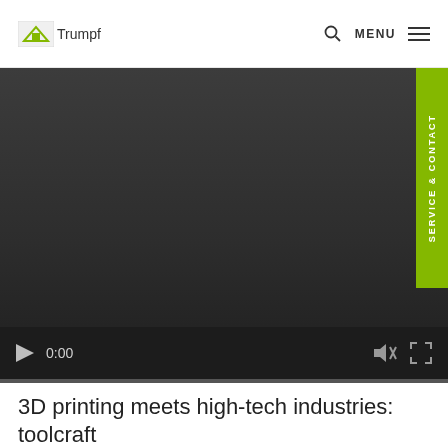Trumpf | MENU
[Figure (screenshot): Video player with dark background showing a video at 0:00 with playback controls including play button, time display, mute icon, and fullscreen icon. A green 'SERVICE & CONTACT' vertical tab appears on the right edge.]
3D printing meets high-tech industries: toolcraft